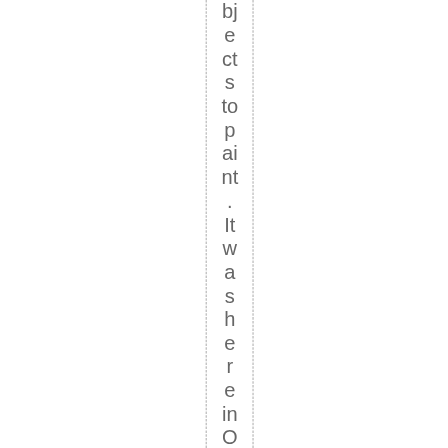bjects to paint. It was here in Oregon that